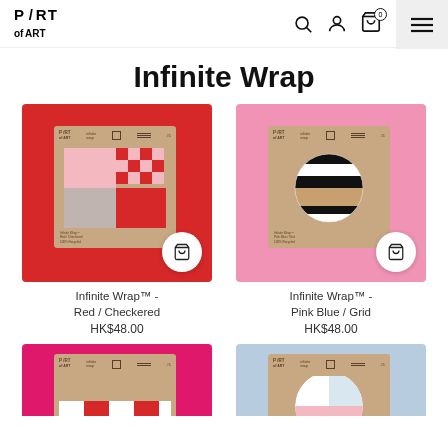PART OF ART — navigation with search, account, cart (0), and menu icons
Infinite Wrap
[Figure (photo): Product photo: Infinite Wrap™ - Red / Checkered on red background, kraft package with checkered red/pink/white pattern]
Infinite Wrap™ - Red / Checkered
HK$48.00
[Figure (photo): Product photo: Infinite Wrap™ - Pink Blue / Grid on pink background, kraft package with striped black/white/tan circle]
Infinite Wrap™ - Pink Blue / Grid
HK$48.00
[Figure (photo): Product photo: Infinite Wrap™ on hot pink background, partially visible]
[Figure (photo): Product photo: Infinite Wrap™ on light blue background, partially visible]